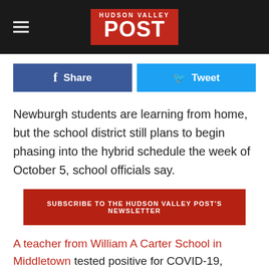HUDSON VALLEY POST
[Figure (logo): Hudson Valley Post logo on red background with white text]
Share | Tweet
Newburgh students are learning from home, but the school district still plans to begin phasing into the hybrid schedule the week of October 5, school officials say.
SUBSCRIBE TO THE HUDSON VALLEY POST'S NEWSLETTER
A teacher from William A Carter School in Middletown tested positive for COVID-19, according to New York State's "The COVID-19 Report Card." The positive test occurred between Sept. 14 through Sept. 20.
Students at the school have been learning from home, but teachers have been teaching from the school. School